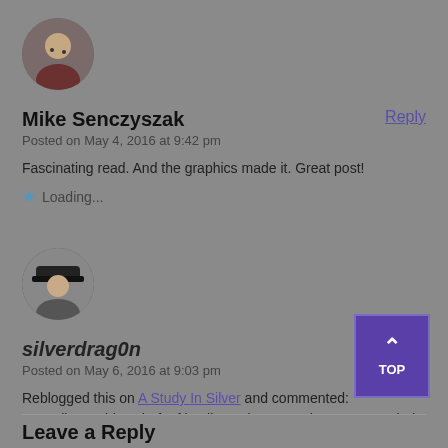[Figure (photo): Circular avatar of Mike Senczyszak - a person holding something]
Mike Senczyszak
Posted on May 4, 2016 at 9:42 pm
Reply
Fascinating read. And the graphics made it. Great post!
Loading...
[Figure (photo): Circular avatar of silverdrag0n - a person wearing a dark cap]
silverdrag0n
Posted on May 6, 2016 at 9:03 pm
Reply
Reblogged this on A Study In Silver and commented:
You tell 'em girl — theft of intellectual property is THEFT. Period.
Loading...
TOP